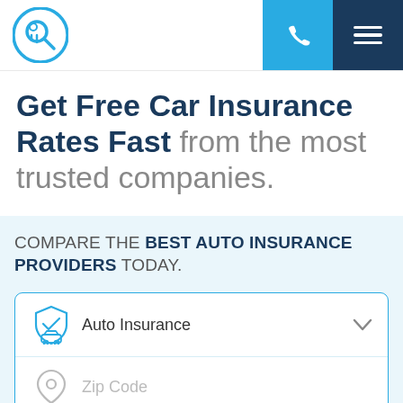[Figure (logo): InsureIQ or similar insurance comparison website logo — circular blue icon with a Q/magnifier symbol]
Get Free Car Insurance Rates Fast from the most trusted companies.
COMPARE THE BEST AUTO INSURANCE PROVIDERS TODAY.
Auto Insurance
Zip Code